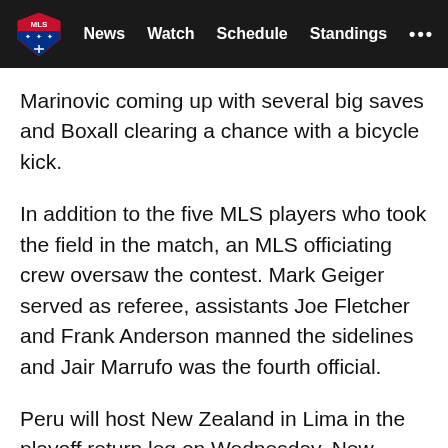MLS | News  Watch  Schedule  Standings  ...
Marinovic coming up with several big saves and Boxall clearing a chance with a bicycle kick.
In addition to the five MLS players who took the field in the match, an MLS officiating crew oversaw the contest. Mark Geiger served as referee, assistants Joe Fletcher and Frank Anderson manned the sidelines and Jair Marrufo was the fourth official.
Peru will host New Zealand in Lima in the playoff return leg on Wednesday. New Zealand will force extra time with a scoreless draw and win the series with a win or draw featuring any goals. Peru will clinch a berth in next summer’s World Cup in Russia with a win.